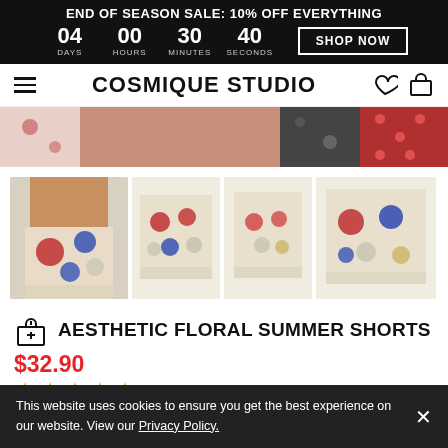END OF SEASON SALE: 10% OFF EVERYTHING | 04 DAYS 00 HOURS 30 MINUTES 40 SECONDS | SHOP NOW
COSMIQUE STUDIO
[Figure (photo): Cropped hero image showing shorts being worn, with fabric swatches]
[Figure (photo): Four product thumbnail images of Aesthetic Floral Summer Shorts from various angles]
AESTHETIC FLORAL SUMMER SHORTS
$32.90
★★★★★ (empty stars rating)
This website uses cookies to ensure you get the best experience on our website. View our Privacy Policy.